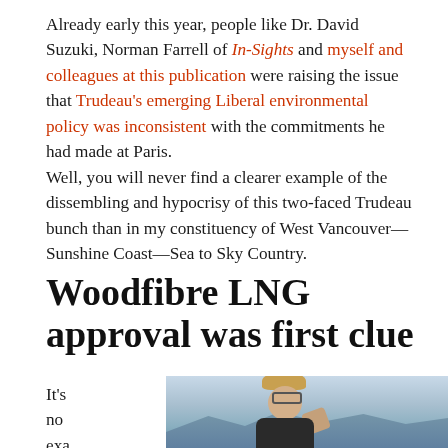Already early this year, people like Dr. David Suzuki, Norman Farrell of In-Sights and myself and colleagues at this publication were raising the issue that Trudeau's emerging Liberal environmental policy was inconsistent with the commitments he had made at Paris.
Well, you will never find a clearer example of the dissembling and hypocrisy of this two-faced Trudeau bunch than in my constituency of West Vancouver—Sunshine Coast—Sea to Sky Country.
Woodfibre LNG approval was first clue
It's no exaggera
[Figure (photo): A person with short curly blonde hair and glasses, raising their hand, photographed outdoors with mountains and blue sky in the background.]